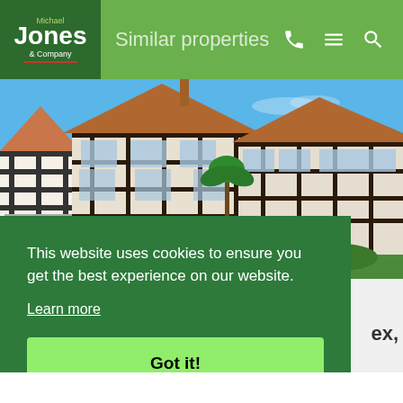[Figure (logo): Michael Jones & Company real estate logo - dark green box with company name]
Similar properties
[Figure (photo): Semi-detached Tudor-style houses with brown timber framing, brick base, and tile roofs under blue sky]
This website uses cookies to ensure you get the best experience on our website.
Learn more
Got it!
ex,